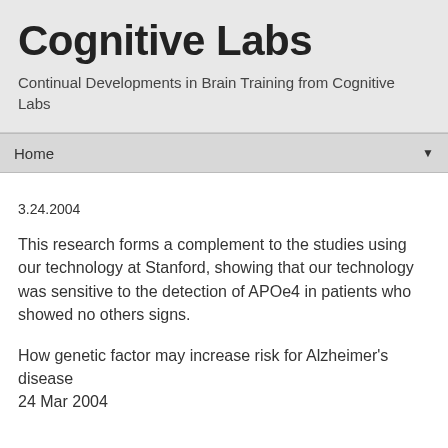Cognitive Labs
Continual Developments in Brain Training from Cognitive Labs
Home
3.24.2004
This research forms a complement to the studies using our technology at Stanford, showing that our technology was sensitive to the detection of APOe4 in patients who showed no others signs.
How genetic factor may increase risk for Alzheimer's disease
24 Mar 2004